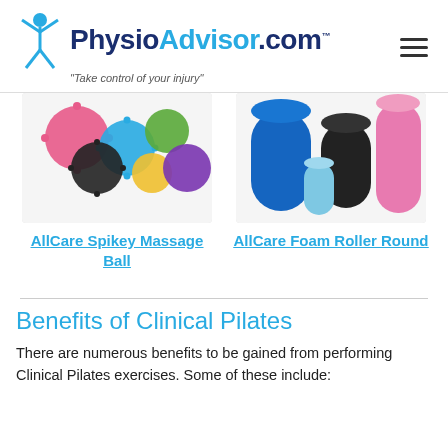PhysioAdvisor.com - "Take control of your injury"
[Figure (photo): Colorful spikey massage balls in various colors (pink, blue, black, green, yellow, purple)]
[Figure (photo): AllCare foam rollers in blue, black, and pink cylindrical shapes]
AllCare Spikey Massage Ball
AllCare Foam Roller Round
Benefits of Clinical Pilates
There are numerous benefits to be gained from performing Clinical Pilates exercises. Some of these include: